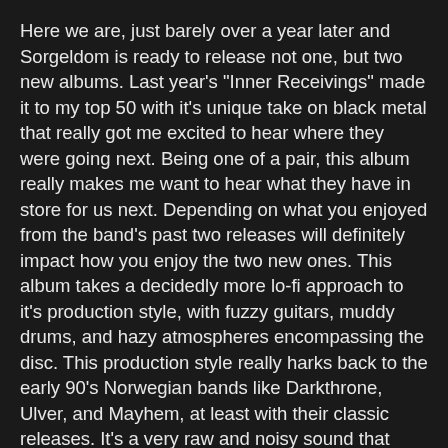Here we are, just barely over a year later and Sorgeldom is ready to release not one, but two new albums. Last year's "Inner Receivings" made it to my top 50 with it's unique take on black metal that really got me excited to hear where they were going next. Being one of a pair, this album really makes me want to hear what they have in store for us next. Depending on what you enjoyed from the band's past two releases will definitely impact how you enjoy the two new ones. This album takes a decidedly more lo-fi approach to it's production style, with fuzzy guitars, muddy drums, and hazy atmospheres encompassing the disc. This production style really harks back to the early 90's Norwegian bands like Darkthrone, Ulver, and Mayhem, at least with their classic releases. It's a very raw and noisy sound that might turn those off who liked the cleaner sound of "Inner Recievings." The band have said that this album was recorded during the forest session, so that gives a bit of insight as to why this has that very raw, naturalistic quality to it. Stylistically, this album takes a bit more of an aggressive edge, at least in it's beginning, with a track like the title-track